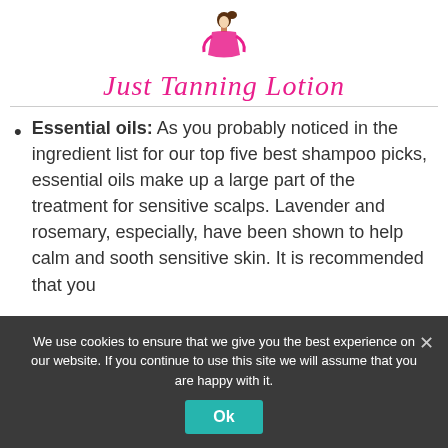[Figure (logo): Just Tanning Lotion logo with a woman silhouette illustration and pink cursive text]
Essential oils: As you probably noticed in the ingredient list for our top five best shampoo picks, essential oils make up a large part of the treatment for sensitive scalps. Lavender and rosemary, especially, have been shown to help calm and sooth sensitive skin. It is recommended that you
We use cookies to ensure that we give you the best experience on our website. If you continue to use this site we will assume that you are happy with it.